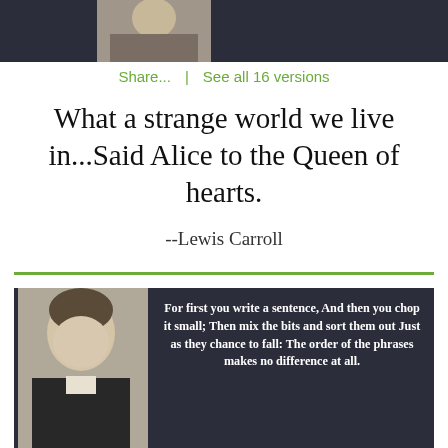[Figure (photo): Partial view of a grayscale portrait photograph at the top of the page on a dark background]
Share...  |  See all 16 versions
What a strange world we live in...Said Alice to the Queen of hearts.
--Lewis Carroll
[Figure (photo): Grayscale portrait photograph of Lewis Carroll (young man in Victorian dress) on a dark card background, with quote text beside it]
For first you write a sentence, And then you chop it small; Then mix the bits and sort them out Just as they chance to fall: The order of the phrases makes no difference at all.